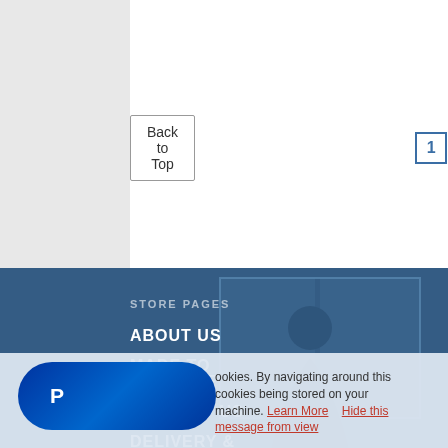Back to Top   1   2   Next
STORE PAGES
ABOUT US
MADE TO MEASURE
CONTACT US
DELIVERY & RETURNS
PRIVACY POLICY
TERMS &
cookies. By navigating around this cookies being stored on your machine. Learn More   Hide this message from view